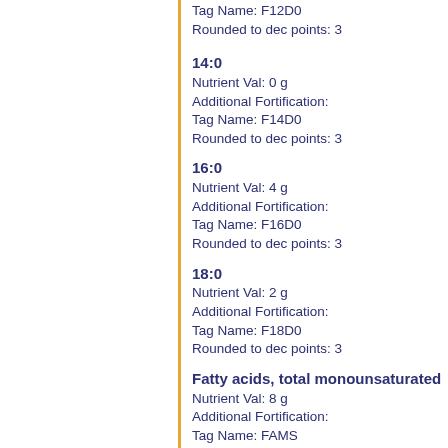Tag Name: F12D0
Rounded to dec points: 3
14:0
Nutrient Val: 0 g
Additional Fortification:
Tag Name: F14D0
Rounded to dec points: 3
16:0
Nutrient Val: 4 g
Additional Fortification:
Tag Name: F16D0
Rounded to dec points: 3
18:0
Nutrient Val: 2 g
Additional Fortification:
Tag Name: F18D0
Rounded to dec points: 3
Fatty acids, total monounsaturated
Nutrient Val: 8 g
Additional Fortification:
Tag Name: FAMS
Rounded to dec points: 3